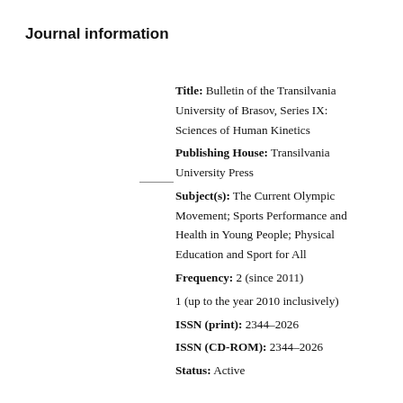Journal information
Title: Bulletin of the Transilvania University of Brasov, Series IX: Sciences of Human Kinetics
Publishing House: Transilvania University Press
Subject(s): The Current Olympic Movement; Sports Performance and Health in Young People; Physical Education and Sport for All
Frequency: 2 (since 2011)
1 (up to the year 2010 inclusively)
ISSN (print): 2344–2026
ISSN (CD-ROM): 2344–2026
Status: Active